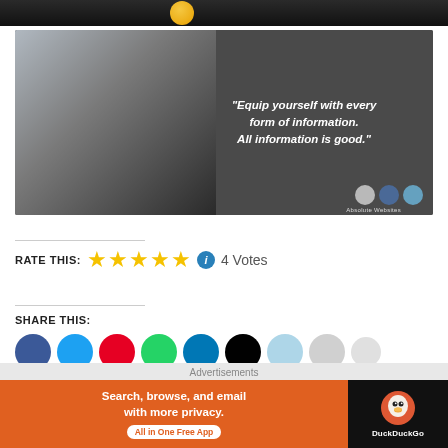[Figure (photo): Dark top strip with logo/branding image]
[Figure (photo): Advertisement banner showing a man in black hoodie with crossed arms against a two-tone background (light left, dark gray right). Quote text on right: "Equip yourself with every form of information. All information is good." Absolute Websites branding with circular dots in bottom right corner.]
RATE THIS: ★★★★★ ⓘ 4 Votes
SHARE THIS:
[Figure (infographic): Row of social share buttons: Facebook (blue), Twitter (light blue), Pinterest (red), WhatsApp (green), LinkedIn (blue), TikTok (black), and three lighter colored buttons]
[Figure (infographic): DuckDuckGo advertisement: orange left panel with text 'Search, browse, and email with more privacy.' and 'All in One Free App' badge, black right panel with DuckDuckGo logo and name]